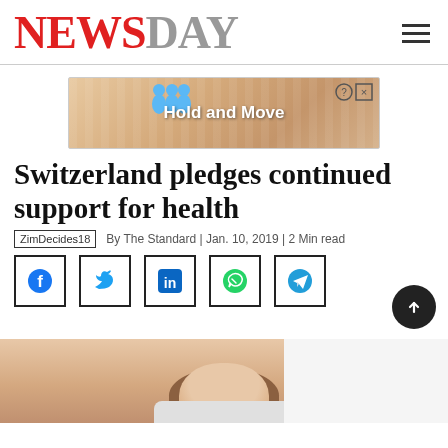NewsDay
[Figure (screenshot): Advertisement banner reading 'Hold and Move' with cartoon figures and close button]
Switzerland pledges continued support for health
ZimDecides18   By The Standard | Jan. 10, 2019 | 2 Min read
[Figure (infographic): Social share buttons: Facebook, Twitter, LinkedIn, WhatsApp, Telegram, and a scroll-to-top button]
[Figure (photo): Partial photo of a person, appearing to be a portrait/headshot at the bottom of the page]